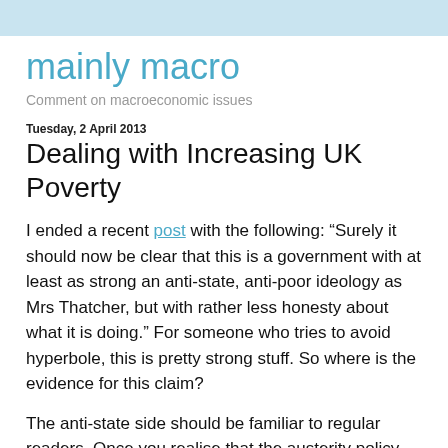mainly macro
Comment on macroeconomic issues
Tuesday, 2 April 2013
Dealing with Increasing UK Poverty
I ended a recent post with the following: “Surely it should now be clear that this is a government with at least as strong an anti-state, anti-poor ideology as Mrs Thatcher, but with rather less honesty about what it is doing.” For someone who tries to avoid hyperbole, this is pretty strong stuff. So where is the evidence for this claim?
The anti-state side should be familiar to regular readers. Once you realise that the austerity policy has no sound basis in terms of macroeconomics, and the markets are saying